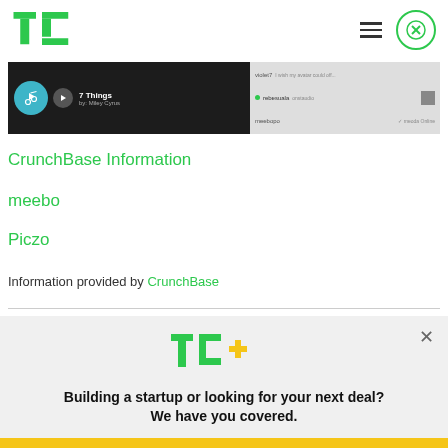TechCrunch
[Figure (screenshot): Screenshot of meebo music player showing '7 Things by Miley Cyrus' with a teal music note circle, play button, and chat interface on the right side]
CrunchBase Information
meebo
Piczo
Information provided by CrunchBase
[Figure (logo): TC+ logo - TechCrunch Plus promotional banner with explore now button]
Building a startup or looking for your next deal? We have you covered.
EXPLORE NOW